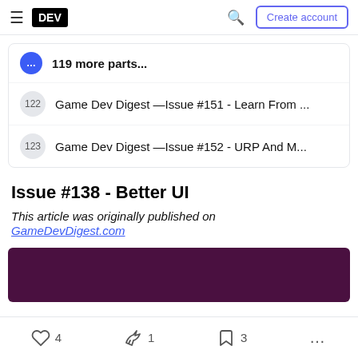DEV — Create account
... 119 more parts...
122 Game Dev Digest —Issue #151 - Learn From ...
123 Game Dev Digest —Issue #152 - URP And M...
Issue #138 - Better UI
This article was originally published on GameDevDigest.com
[Figure (photo): Dark purple/maroon header image for the article]
4  1  3  ...